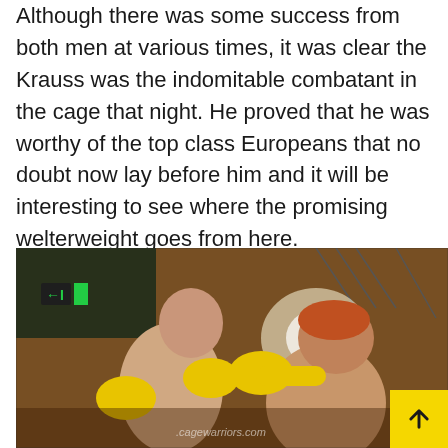Although there was some success from both men at various times, it was clear the Krauss was the indomitable combatant in the cage that night. He proved that he was worthy of the top class Europeans that no doubt now lay before him and it will be interesting to see where the promising welterweight goes from here.
[Figure (photo): Two MMA fighters exchanging punches. Both wearing yellow MMA gloves. Left fighter is lean and bald, right fighter has red/orange hair. Both shirtless in a cage/ring setting with warm amber lighting. Watermark reads .cagewarriors.com]